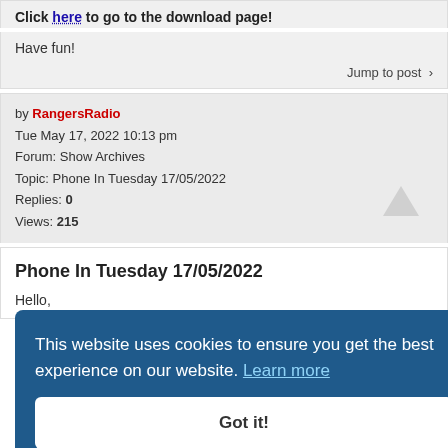Click here to go to the download page!
Have fun!
Jump to post
by RangersRadio
Tue May 17, 2022 10:13 pm
Forum: Show Archives
Topic: Phone In Tuesday 17/05/2022
Replies: 0
Views: 215
Phone In Tuesday 17/05/2022
Hello,
we have a new download!
This website uses cookies to ensure you get the best experience on our website. Learn more
Description:
Category: Show Archives
Click here to go to the download page!
Got it!
Have fun!